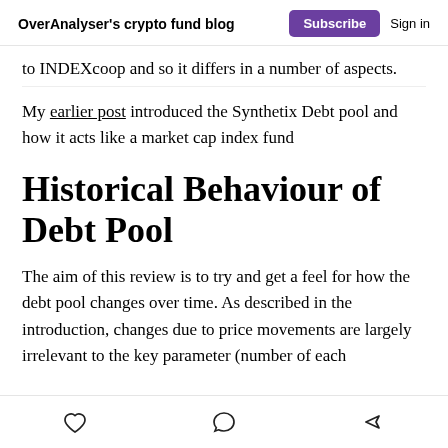OverAnalyser's crypto fund blog | Subscribe | Sign in
to INDEXcoop and so it differs in a number of aspects.
My earlier post introduced the Synthetix Debt pool and how it acts like a market cap index fund
Historical Behaviour of Debt Pool
The aim of this review is to try and get a feel for how the debt pool changes over time. As described in the introduction, changes due to price movements are largely irrelevant to the key parameter (number of each
Like | Comment | Share